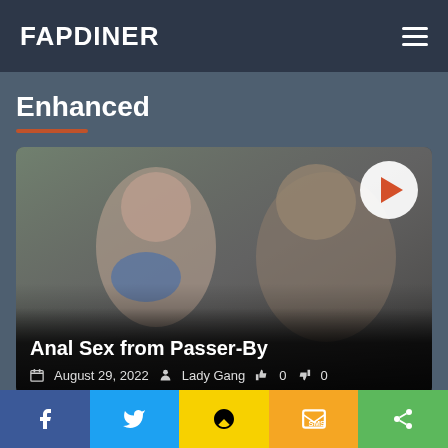FAPDINER
Enhanced
[Figure (photo): Video thumbnail showing two people in a car interior; woman in blue lingerie and man in textured jacket]
Anal Sex from Passer-By
August 29, 2022  Lady Gang  0  0